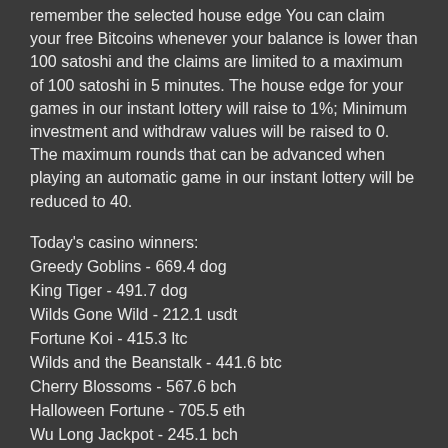remember the selected house edge You can claim your free Bitcoins whenever your balance is lower than 100 satoshi and the claims are limited to a maximum of 100 satoshi in 5 minutes. The house edge for your games in our instant lottery will raise to 1%; Minimum investment and withdraw values will be raised to 0. The maximum rounds that can be advanced when playing an automatic game in our instant lottery will be reduced to 40.
Today's casino winners:
Greedy Goblins - 669.4 dog
King Tiger - 491.7 dog
Wilds Gone Wild - 212.1 usdt
Fortune Koi - 415.3 ltc
Wilds and the Beanstalk - 441.6 btc
Cherry Blossoms - 567.6 bch
Halloween Fortune - 705.5 eth
Wu Long Jackpot - 245.1 bch